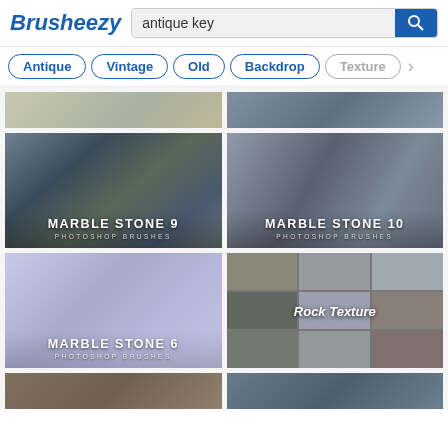Brusheezy — search: antique key
Antique
Vintage
Old
Backdrop
Texture
[Figure (photo): Marble Stone 9 Photoshop Brushes - dark blue-gray marble texture]
[Figure (photo): Marble Stone 10 Photoshop Brushes - light gray marble texture with veins]
[Figure (photo): Marble Stone 6 Photoshop Brushes - lavender/purple marble texture]
[Figure (photo): Rock Texture - grid of rock texture images]
[Figure (photo): Partial thumbnail - bottom row left, stone/rock texture]
[Figure (photo): Partial thumbnail - bottom row right, stone/rock texture]